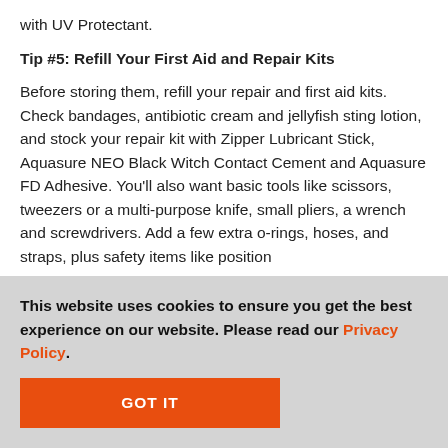with UV Protectant.
Tip #5: Refill Your First Aid and Repair Kits
Before storing them, refill your repair and first aid kits. Check bandages, antibiotic cream and jellyfish sting lotion, and stock your repair kit with Zipper Lubricant Stick, Aquasure NEO Black Witch Contact Cement and Aquasure FD Adhesive. You'll also want basic tools like scissors, tweezers or a multi-purpose knife, small pliers, a wrench and screwdrivers. Add a few extra o-rings, hoses, and straps, plus safety items like position
This website uses cookies to ensure you get the best experience on our website. Please read our Privacy Policy.
GOT IT